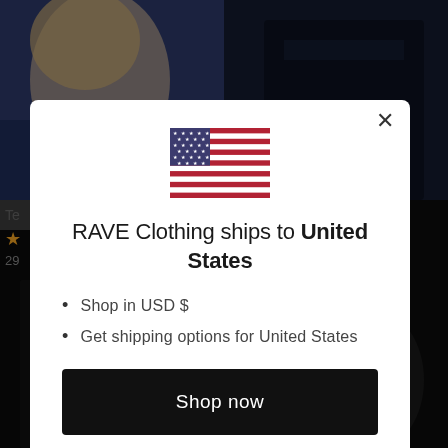[Figure (screenshot): Background showing a clothing website with dark product images and partial UI elements]
RAVE Clothing ships to United States
Shop in USD $
Get shipping options for United States
Shop now
Change shipping country